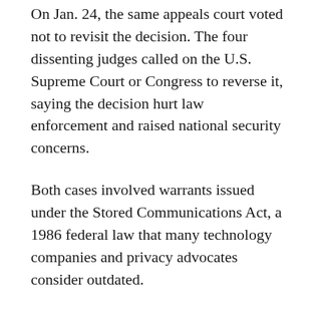On Jan. 24, the same appeals court voted not to revisit the decision. The four dissenting judges called on the U.S. Supreme Court or Congress to reverse it, saying the decision hurt law enforcement and raised national security concerns.
Both cases involved warrants issued under the Stored Communications Act, a 1986 federal law that many technology companies and privacy advocates consider outdated.
In court papers, Google said it sometimes breaks up emails into pieces to improve its network’s performance, and did not necessarily know where particular emails might be stored.